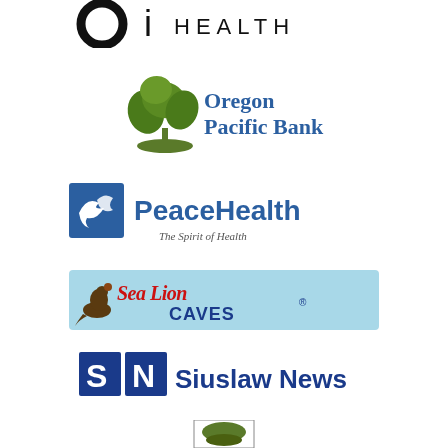[Figure (logo): OI Health logo - partial view showing circular O shape and text HEALTH in spaced capitals]
[Figure (logo): Oregon Pacific Bank logo with green tree illustration and blue/green text]
[Figure (logo): PeaceHealth logo with blue square containing white dove/wave icon, bold blue PeaceHealth text, italic tagline The Spirit of Health]
[Figure (logo): Sea Lion Caves logo on light blue banner background with illustrated sea lion and stylized red/blue text]
[Figure (logo): Siuslaw News logo with SN letters in blue square boxes and bold blue Siuslaw News text]
[Figure (logo): Partial logo at bottom of page - small green/brown illustration, partially cut off]